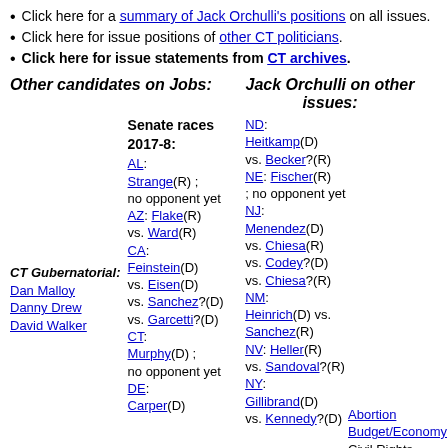Click here for a summary of Jack Orchulli's positions on all issues.
Click here for issue positions of other CT politicians.
Click here for issue statements from CT archives.
Other candidates on Jobs:   Jack Orchulli on other issues:
Senate races 2017-8: AL: Strange(R) ; no opponent yet AZ: Flake(R) vs. Ward(R) CA: Feinstein(D) vs. Eisen(D) vs. Sanchez?(D) vs. Garcetti?(D) CT: Murphy(D) ; no opponent yet DE: Carper(D)
ND: Heitkamp(D) vs. Becker?(R) NE: Fischer(R) ; no opponent yet NJ: Menendez(D) vs. Chiesa(R) vs. Codey?(D) vs. Chiesa?(R) NM: Heinrich(D) vs. Sanchez(R) NV: Heller(R) vs. Sandoval?(R) NY: Gillibrand(D) vs. Kennedy?(D)
Abortion Budget/Economy Civil Rights
CT Gubernatorial: Dan Malloy Danny Drew David Walker